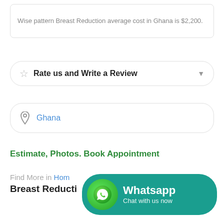Wise pattern Breast Reduction average cost in Ghana is $2,200.
Rate us and Write a Review
Ghana
Estimate, Photos. Book Appointment
Find More in Home...
Breast Reduction...
[Figure (logo): WhatsApp promotional button with green WhatsApp icon and teal background reading 'Whatsapp Chat with us now']